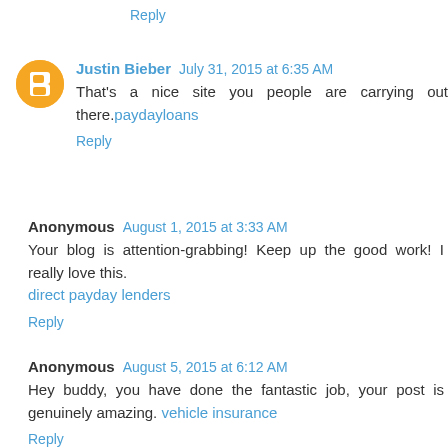Reply
Justin Bieber  July 31, 2015 at 6:35 AM
That's a nice site you people are carrying out there.paydayloans
Reply
Anonymous  August 1, 2015 at 3:33 AM
Your blog is attention-grabbing! Keep up the good work! I really love this.
direct payday lenders
Reply
Anonymous  August 5, 2015 at 6:12 AM
Hey buddy, you have done the fantastic job, your post is genuinely amazing. vehicle insurance
Reply